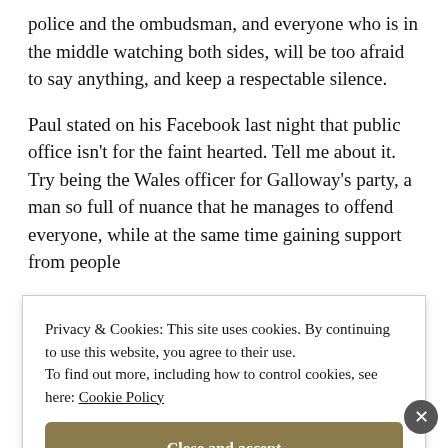police and the ombudsman, and everyone who is in the middle watching both sides, will be too afraid to say anything, and keep a respectable silence.
Paul stated on his Facebook last night that public office isn't for the faint hearted. Tell me about it. Try being the Wales officer for Galloway's party, a man so full of nuance that he manages to offend everyone, while at the same time gaining support from people
Privacy & Cookies: This site uses cookies. By continuing to use this website, you agree to their use.
To find out more, including how to control cookies, see here: Cookie Policy
Close and accept